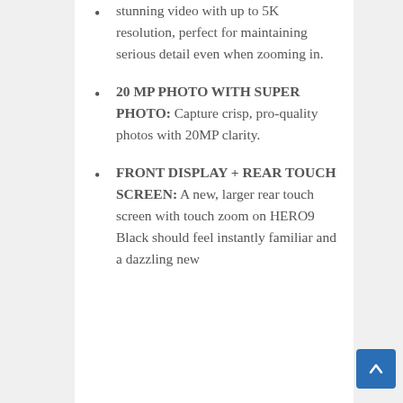stunning video with up to 5K resolution, perfect for maintaining serious detail even when zooming in.
20 MP PHOTO WITH SUPER PHOTO: Capture crisp, pro-quality photos with 20MP clarity.
FRONT DISPLAY + REAR TOUCH SCREEN: A new, larger rear touch screen with touch zoom on HERO9 Black should feel instantly familiar and a dazzling new